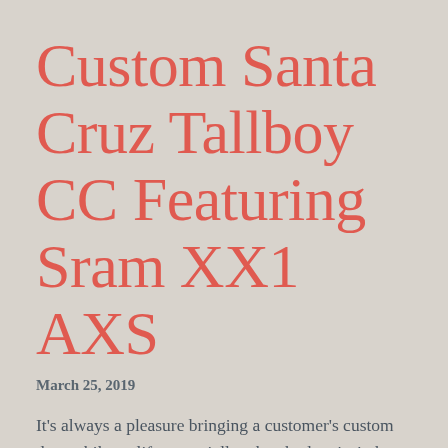Custom Santa Cruz Tallboy CC Featuring Sram XX1 AXS
March 25, 2019
It’s always a pleasure bringing a customer’s custom dream bike to life, especially when budget isn’t the main concern. It gets even better when the customer is eager to incorporate the latest technology into the build